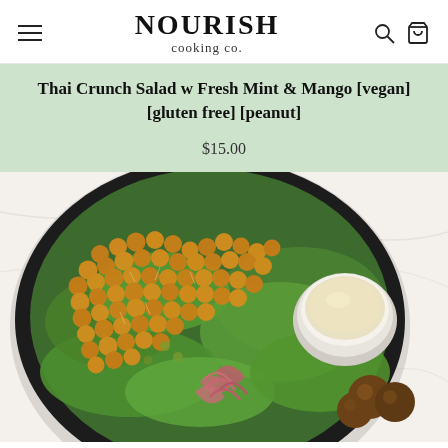NOURISH cooking co.
Thai Crunch Salad w Fresh Mint & Mango [vegan] [gluten free] [peanut]
$15.00
[Figure (photo): Overhead view of a Thai crunch salad in a black bowl with roasted chickpeas, green lettuce, pickled red onions, mushrooms, and a small white cup of dressing, on a marble surface.]